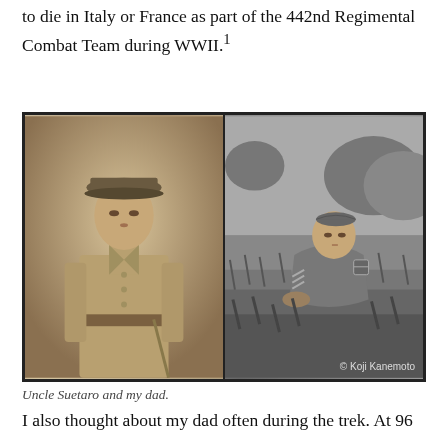to die in Italy or France as part of the 442nd Regimental Combat Team during WWII.¹
[Figure (photo): Two side-by-side black and white photographs. Left: a young Asian man in a military uniform with a peaked cap, formal portrait style, sepia tone. Right: an older Asian man in a US Army uniform with sergeant stripes and division patch, crouching in a field with vegetation around him. Photo credit: © Koji Kanemoto]
Uncle Suetaro and my dad.
I also thought about my dad often during the trek.  At 96